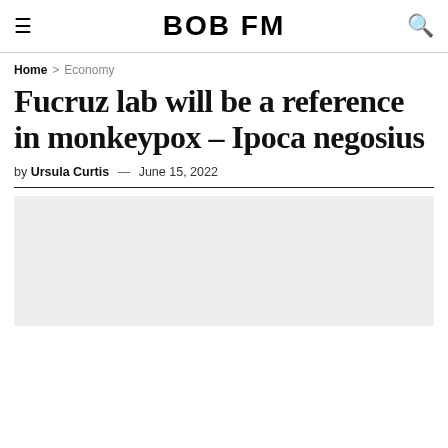BOB FM
Home > Economy
Fucruz lab will be a reference in monkeypox – Ipoca negosius
by Ursula Curtis — June 15, 2022
[Figure (photo): Article image placeholder (light grey rectangle)]